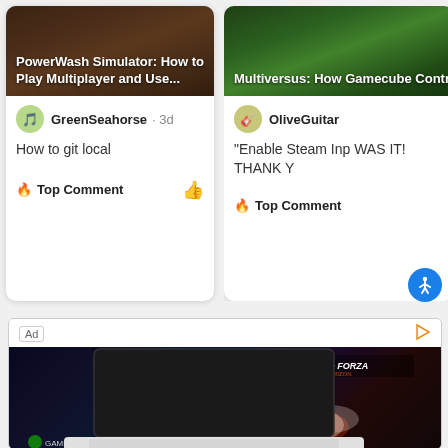[Figure (screenshot): Card: PowerWash Simulator article thumbnail with dark background game screenshot]
PowerWash Simulator: How to Play Multiplayer and Use...
GreenSeahorse · 3d
How to git local
Top Comment
[Figure (screenshot): Card: Multiversus article thumbnail with green game screenshot]
Multiversus: How Gamecube Contr
OliveGuitar
"Enable Steam Inp WAS IT! THANK Y
Top Comment
[Figure (screenshot): Advertisement showing a laptop with Forza Horizon game on screen, Xbox branding, GAMER OS label]